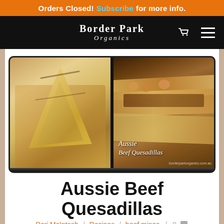Orders Closed! Subscribe for more info.
[Figure (logo): Border Park Organics logo with shopping cart and hamburger menu icons on black navigation bar]
[Figure (photo): Two-panel food photo collage: left panel shows grilled quesadilla wedges on a wooden board; right panel shows open beef quesadillas with filling visible, labeled 'Aussie Beef Quesadillas' with borderparkorganics.com.au watermark]
Aussie Beef Quesadillas
Peri McIntosh / Recipes / beef mince / 0 💬